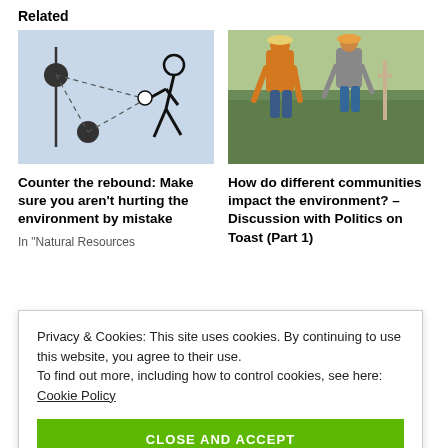Related
[Figure (illustration): Stick figure illustration of a person throwing a ball, with dashed trajectory lines and two dark circular objects, on a light blue background]
Counter the rebound: Make sure you aren't hurting the environment by mistake
In "Natural Resources
[Figure (photo): Two people in outdoor clothing bending over green crops in a field]
How do different communities impact the environment? – Discussion with Politics on Toast (Part 1)
Privacy & Cookies: This site uses cookies. By continuing to use this website, you agree to their use.
To find out more, including how to control cookies, see here: Cookie Policy
CLOSE AND ACCEPT
How are different